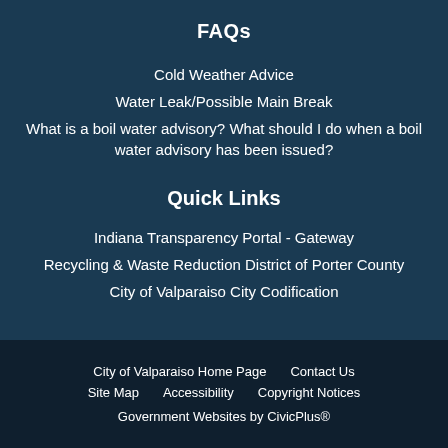FAQs
Cold Weather Advice
Water Leak/Possible Main Break
What is a boil water advisory? What should I do when a boil water advisory has been issued?
Quick Links
Indiana Transparency Portal - Gateway
Recycling & Waste Reduction District of Porter County
City of Valparaiso City Codification
City of Valparaiso Home Page   Contact Us   Site Map   Accessibility   Copyright Notices   Government Websites by CivicPlus®